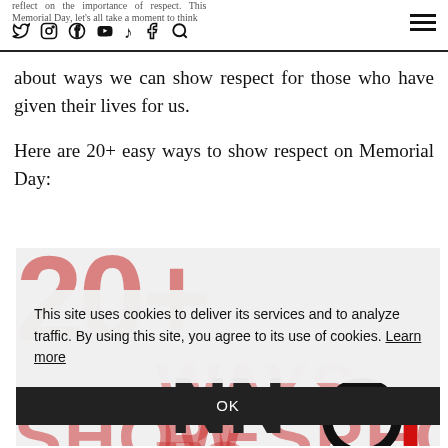reflect on the importance of respect. This Memorial Day, let's all take a moment to think
about ways we can show respect for those who have given their lives for us.
Here are 20+ easy ways to show respect on Memorial Day:
[Figure (infographic): Infographic with large text '20+' and 'WAYS TO SHOW RESPECT' in red/pink overlapping typography on a light gray background, with a black circle 'O' and red 'T' visible on the right side, and partial black figures at the bottom.]
This site uses cookies to deliver its services and to analyze traffic. By using this site, you agree to its use of cookies. Learn more